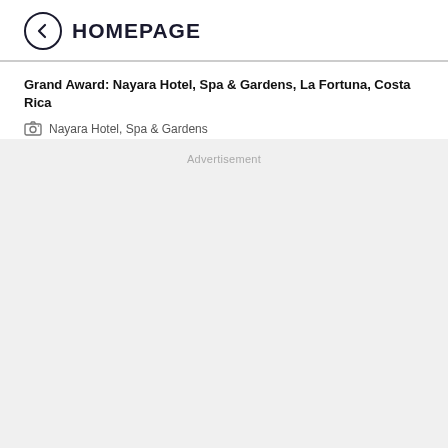HOMEPAGE
Grand Award: Nayara Hotel, Spa & Gardens, La Fortuna, Costa Rica
Nayara Hotel, Spa & Gardens
Advertisement